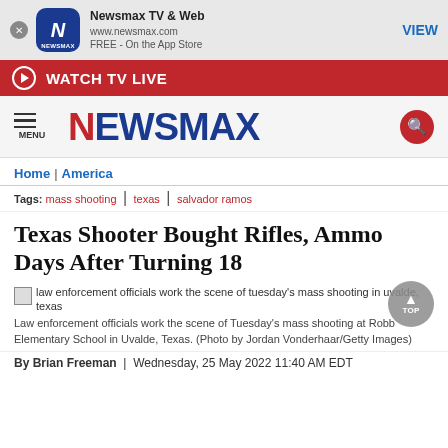[Figure (screenshot): Newsmax app banner with icon, app name 'Newsmax TV & Web', URL www.newsmax.com, FREE - On the App Store, and VIEW button]
WATCH TV LIVE
[Figure (logo): Newsmax logo with hamburger menu icon and search button]
Home | America
Tags: mass shooting | texas | salvador ramos
Texas Shooter Bought Rifles, Ammo Days After Turning 18
[Figure (photo): law enforcement officials work the scene of tuesday's mass shooting in uvalde, texas]
Law enforcement officials work the scene of Tuesday's mass shooting at Robb Elementary School in Uvalde, Texas. (Photo by Jordan Vonderhaar/Getty Images)
By Brian Freeman | Wednesday, 25 May 2022 11:40 AM EDT